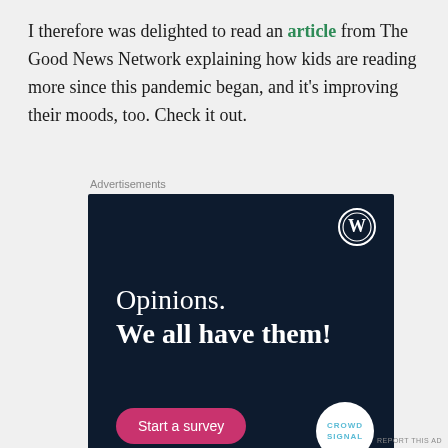I therefore was delighted to read an article from The Good News Network explaining how kids are reading more since this pandemic began, and it's improving their moods, too. Check it out.
Advertisements
[Figure (other): Advertisement banner with dark navy background showing WordPress logo in top right, text 'Opinions. We all have them!', a pink 'Start a survey' button, and Crowdsignal logo in bottom right.]